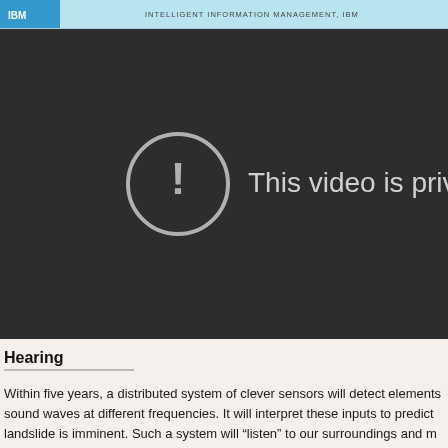[Figure (screenshot): Top strip showing partial IBM banner with text 'INTELLIGENT INFORMATION MANAGEMENT, IBM' on a light blue/teal background]
[Figure (screenshot): Video player with dark background showing 'This video is private' message with an exclamation mark in a circle icon]
Hearing
Within five years, a distributed system of clever sensors will detect elements sound waves at different frequencies. It will interpret these inputs to predict landslide is imminent. Such a system will "listen" to our surroundings and m